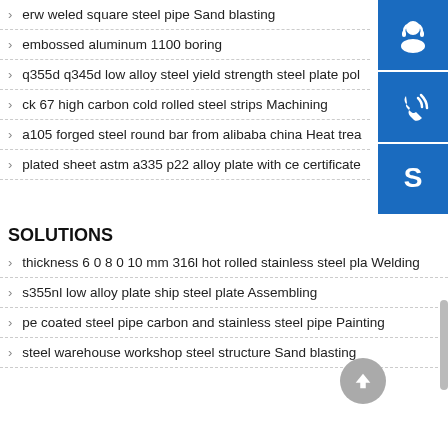erw weled square steel pipe Sand blasting
embossed aluminum 1100 boring
q355d q345d low alloy steel yield strength steel plate pol
ck 67 high carbon cold rolled steel strips Machining
a105 forged steel round bar from alibaba china Heat trea
plated sheet astm a335 p22 alloy plate with ce certificate
[Figure (infographic): Three blue square buttons: customer service headset icon, phone/call icon, and Skype icon]
SOLUTIONS
thickness 6 0 8 0 10 mm 316l hot rolled stainless steel pla Welding
s355nl low alloy plate ship steel plate Assembling
pe coated steel pipe carbon and stainless steel pipe Painting
steel warehouse workshop steel structure Sand blasting